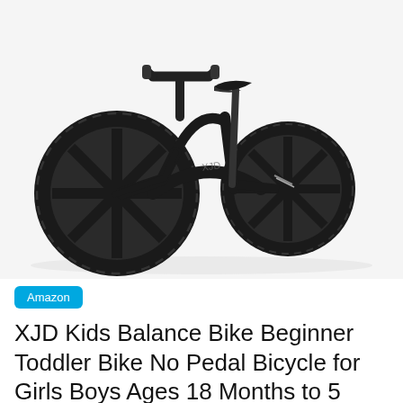[Figure (photo): Product photo of a black XJD kids balance bike (no pedal) on a white background, showing two large black wheels with spoked rims, a black aluminum frame, a black cushioned seat with adjustable post, and handlebars with grips.]
Amazon
XJD Kids Balance Bike Beginner Toddler Bike No Pedal Bicycle for Girls Boys Ages 18 Months to 5 Years Old Lightweight Toddler Training Bicycle